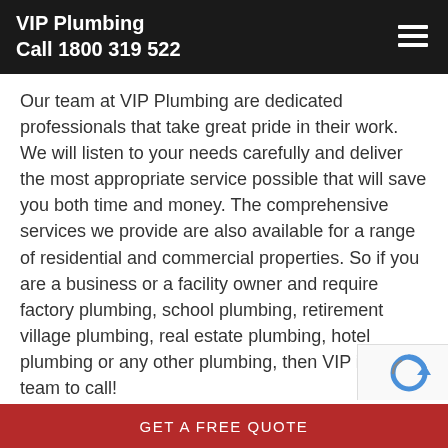VIP Plumbing
Call 1800 319 522
Our team at VIP Plumbing are dedicated professionals that take great pride in their work. We will listen to your needs carefully and deliver the most appropriate service possible that will save you both time and money. The comprehensive services we provide are also available for a range of residential and commercial properties. So if you are a business or a facility owner and require factory plumbing, school plumbing, retirement village plumbing, real estate plumbing, hotel plumbing or any other plumbing, then VIP is the team to call!
GET A FREE QUOTE